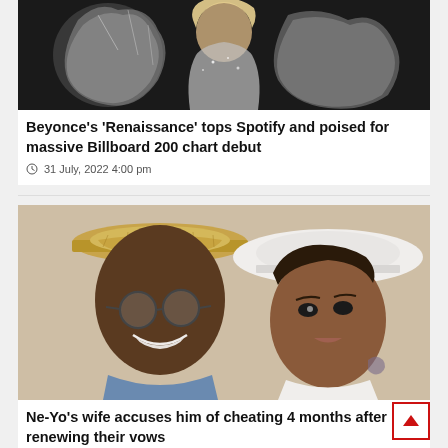[Figure (photo): Top portion of a performer on stage, wearing a glittery outfit, with a silver/crystal trophy or award visible in the foreground]
Beyonce's 'Renaissance' tops Spotify and poised for massive Billboard 200 chart debut
31 July, 2022 4:00 pm
[Figure (photo): A man wearing a straw hat and round sunglasses smiling, next to a woman wearing a white wide-brim hat and white outfit with tattoos visible]
Ne-Yo's wife accuses him of cheating 4 months after renewing their vows